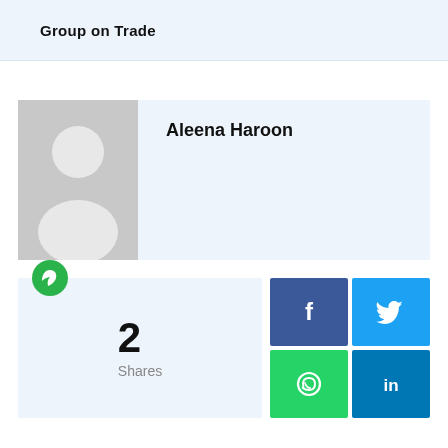Group on Trade
Aleena Haroon
[Figure (illustration): Grey default user avatar placeholder image]
2
Shares
[Figure (other): Social share buttons: Facebook (blue), Twitter (light blue), WhatsApp (green), LinkedIn (dark blue)]